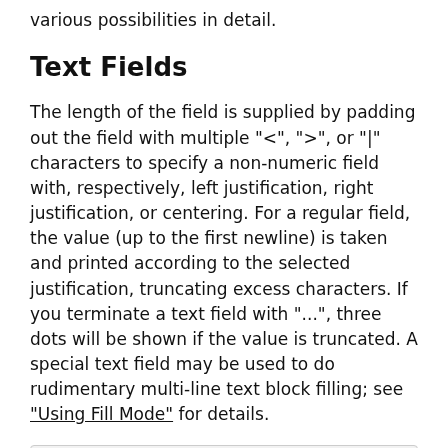various possibilities in detail.
Text Fields
The length of the field is supplied by padding out the field with multiple "<", ">", or "|" characters to specify a non-numeric field with, respectively, left justification, right justification, or centering. For a regular field, the value (up to the first newline) is taken and printed according to the selected justification, truncating excess characters. If you terminate a text field with "...", three dots will be shown if the value is truncated. A special text field may be used to do rudimentary multi-line text block filling; see "Using Fill Mode" for details.
Example:
    format STDOUT =
    @<<<<<<    @||||||    @>>>>>>
    "left",    "middle", "right"
    .
Output: